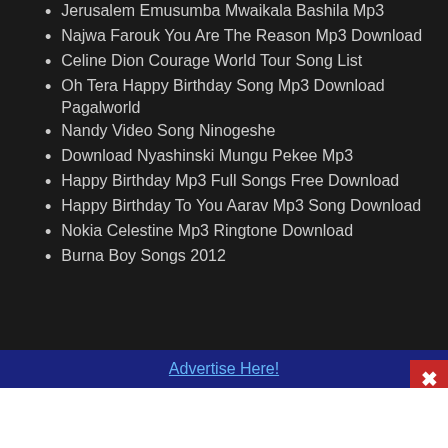Jerusalem Emusumba Mwaikala Bashila Mp3
Najwa Farouk You Are The Reason Mp3 Download
Celine Dion Courage World Tour Song List
Oh Tera Happy Birthday Song Mp3 Download Pagalworld
Nandy Video Song Ninogeshe
Download Nyashinski Mungu Pekee Mp3
Happy Birthday Mp3 Full Songs Free Download
Happy Birthday To You Aarav Mp3 Song Download
Nokia Celestine Mp3 Ringtone Download
Burna Boy Songs 2012
Advertise Here!